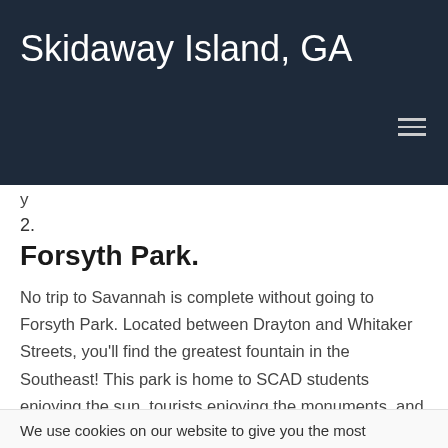Skidaway Island, GA
y
2.
Forsyth Park.
No trip to Savannah is complete without going to Forsyth Park. Located between Drayton and Whitaker Streets, you'll find the greatest fountain in the Southeast! This park is home to SCAD students enjoying the sun, tourists enjoying the monuments, and angel oak trees.
We use cookies on our website to give you the most